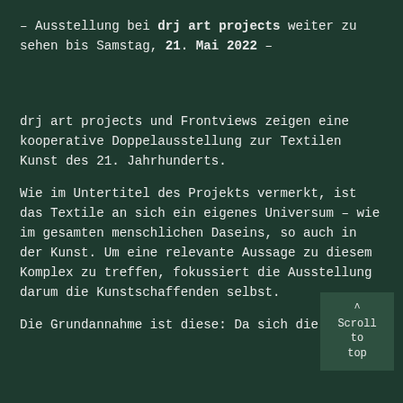– Ausstellung bei drj art projects weiter zu sehen bis Samstag, 21. Mai 2022 –
drj art projects und Frontviews zeigen eine kooperative Doppelausstellung zur Textilen Kunst des 21. Jahrhunderts.
Wie im Untertitel des Projekts vermerkt, ist das Textile an sich ein eigenes Universum – wie im gesamten menschlichen Daseins, so auch in der Kunst. Um eine relevante Aussage zu diesem Komplex zu treffen, fokussiert die Ausstellung da­rum die Kunstschaffenden selbst.
Die Grundannahme ist diese: Da sich die